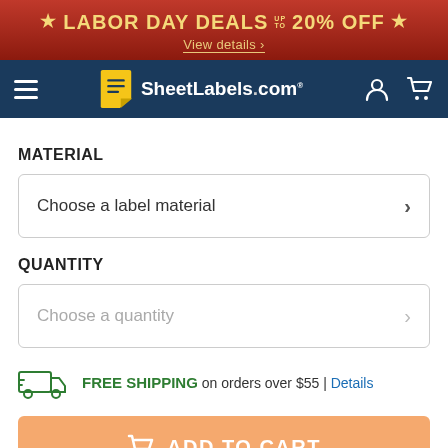[Figure (screenshot): Red banner with 'LABOR DAY DEALS UP TO 20% OFF' text and 'View details' link]
[Figure (screenshot): Dark blue navigation bar with hamburger menu, SheetLabels.com logo, user icon, and cart icon]
MATERIAL
Choose a label material
QUANTITY
Choose a quantity
FREE SHIPPING on orders over $55 | Details
ADD TO CART